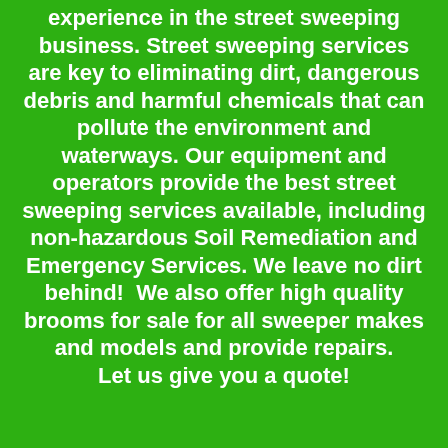experience in the street sweeping business. Street sweeping services are key to eliminating dirt, dangerous debris and harmful chemicals that can pollute the environment and waterways. Our equipment and operators provide the best street sweeping services available, including non-hazardous Soil Remediation and Emergency Services. We leave no dirt behind!  We also offer high quality brooms for sale for all sweeper makes and models and provide repairs. Let us give you a quote!